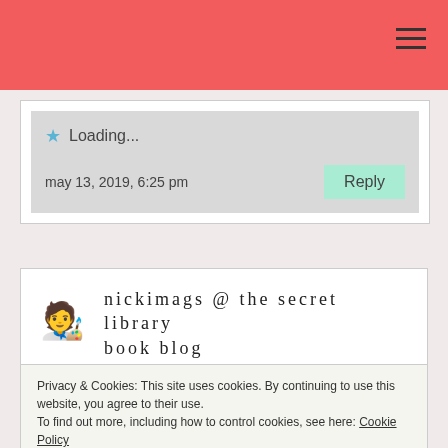[Figure (screenshot): Red navigation bar with hamburger menu icon at top right]
Loading...
may 13, 2019, 6:25 pm
Reply
nickimags @ the secret library book blog
I love these posts as well!  I’ve read
Privacy & Cookies: This site uses cookies. By continuing to use this website, you agree to their use.
To find out more, including how to control cookies, see here: Cookie Policy
Close and accept